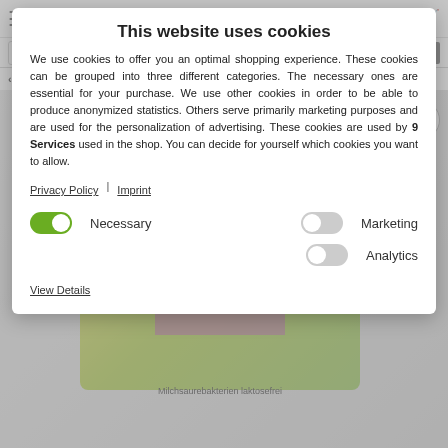[Figure (screenshot): Website header with hamburger menu, Viterna.at logo, EN language selector, user icon, and cart icon]
This website uses cookies
We use cookies to offer you an optimal shopping experience. These cookies can be grouped into three different categories. The necessary ones are essential for your purchase. We use other cookies in order to be able to produce anonymized statistics. Others serve primarily marketing purposes and are used for the personalization of advertising. These cookies are used by 9 Services used in the shop. You can decide for yourself which cookies you want to allow.
Privacy Policy
Imprint
Necessary
Marketing
Analytics
View Details
[Figure (photo): Product photo showing lacto bac supplement bottle with yellow sunflower and green background. Text reads: Milchsaurebakterien laktosefrei]